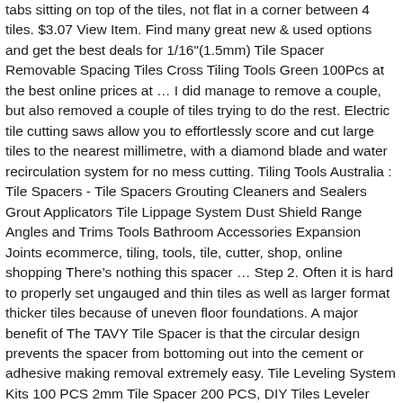tabs sitting on top of the tiles, not flat in a corner between 4 tiles. $3.07 View Item. Find many great new & used options and get the best deals for 1/16"(1.5mm) Tile Spacer Removable Spacing Tiles Cross Tiling Tools Green 100Pcs at the best online prices at … I did manage to remove a couple, but also removed a couple of tiles trying to do the rest. Electric tile cutting saws allow you to effortlessly score and cut large tiles to the nearest millimetre, with a diamond blade and water recirculation system for no mess cutting. Tiling Tools Australia : Tile Spacers - Tile Spacers Grouting Cleaners and Sealers Grout Applicators Tile Lippage System Dust Shield Range Angles and Trims Tools Bathroom Accessories Expansion Joints ecommerce, tiling, tools, tile, cutter, shop, online shopping There's nothing this spacer … Step 2. Often it is hard to properly set ungauged and thin tiles as well as larger format thicker tiles because of uneven floor foundations. A major benefit of The TAVY Tile Spacer is that the circular design prevents the spacer from bottoming out into the cement or adhesive making removal extremely easy. Tile Leveling System Kits 100 PCS 2mm Tile Spacer 200 PCS, DIY Tiles Leveler Spacers with Wrench, Reusable Flooring Level Tile levellers, Wall & Floor Construction Tools by Tanek (100) 4.1 out of 5 stars 78. Buy this 200-pieces set additionally after you use up all the clips from the bucket. Although i have to say the quality of tiles in NZ are absolutely awsome IF you get high quality tiles from a reputable Tile company. Once you've chosen your preferred pattern and design